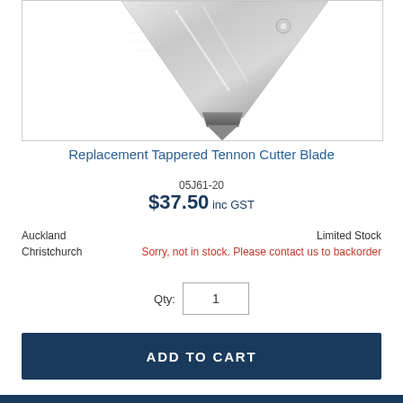[Figure (photo): Product image of a triangular/tapered metal blade (Replacement Tappered Tennon Cutter Blade) shown with silver metallic finish against white background]
Replacement Tappered Tennon Cutter Blade
05J61-20
$37.50 inc GST
| Location | Status |
| --- | --- |
| Auckland | Limited Stock |
| Christchurch | Sorry, not in stock. Please contact us to backorder |
Qty: 1
ADD TO CART